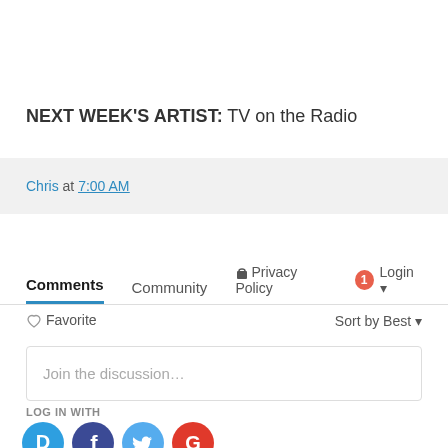NEXT WEEK'S ARTIST: TV on the Radio
Chris at 7:00 AM
Comments  Community  🔒 Privacy Policy  1 Login
♡ Favorite   Sort by Best
Join the discussion…
LOG IN WITH
[Figure (other): Social login icons: Disqus (blue speech bubble with D), Facebook (dark blue circle with f), Twitter (light blue circle with bird), Google (red circle with G)]